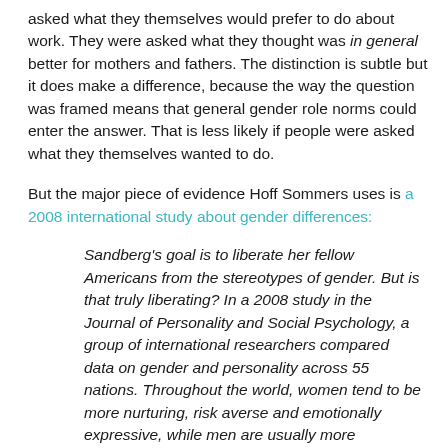asked what they themselves would prefer to do about work. They were asked what they thought was in general better for mothers and fathers.  The distinction is subtle but it does make a difference, because the way the question was framed means that general gender role norms could enter the answer.  That is less likely if people were asked what they themselves wanted to do.
But the major piece of evidence Hoff Sommers uses is a 2008 international study about gender differences:
Sandberg's goal is to liberate her fellow Americans from the stereotypes of gender. But is that truly liberating? In a 2008 study in the Journal of Personality and Social Psychology, a group of international researchers compared data on gender and personality across 55 nations. Throughout the world, women tend to be more nurturing, risk averse and emotionally expressive, while men are usually more competitive, risk taking, and emotionally flat. But the most fascinating finding is this: Personality differences